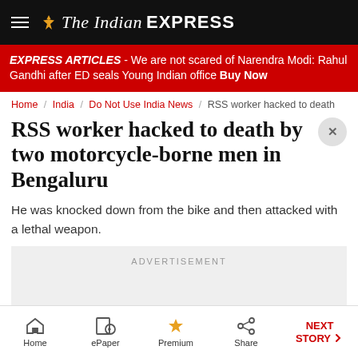The Indian EXPRESS
EXPRESS ARTICLES - We are not scared of Narendra Modi: Rahul Gandhi after ED seals Young Indian office Buy Now
Home / India / Do Not Use India News / RSS worker hacked to death
RSS worker hacked to death by two motorcycle-borne men in Bengaluru
He was knocked down from the bike and then attacked with a lethal weapon.
[Figure (other): Advertisement placeholder box]
Home  ePaper  Premium  Share  NEXT STORY